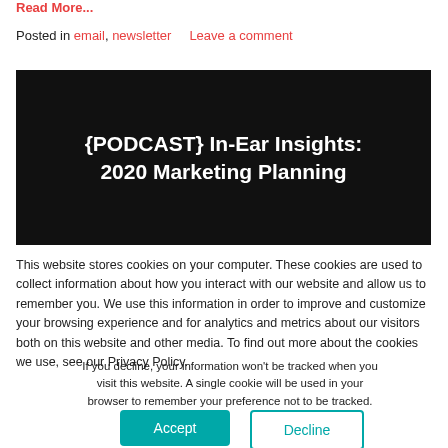Read More...
Posted in email, newsletter   Leave a comment
[Figure (illustration): Dark background image with bold white text reading '{PODCAST} In-Ear Insights: 2020 Marketing Planning']
This website stores cookies on your computer. These cookies are used to collect information about how you interact with our website and allow us to remember you. We use this information in order to improve and customize your browsing experience and for analytics and metrics about our visitors both on this website and other media. To find out more about the cookies we use, see our Privacy Policy.
If you decline, your information won't be tracked when you visit this website. A single cookie will be used in your browser to remember your preference not to be tracked.
Accept
Decline